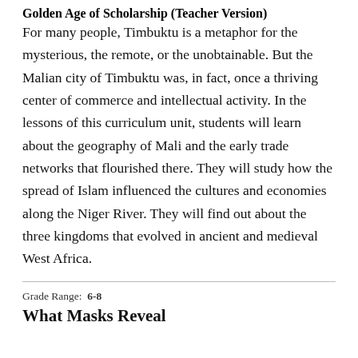Golden Age of Scholarship (Teacher Version)
For many people, Timbuktu is a metaphor for the mysterious, the remote, or the unobtainable. But the Malian city of Timbuktu was, in fact, once a thriving center of commerce and intellectual activity. In the lessons of this curriculum unit, students will learn about the geography of Mali and the early trade networks that flourished there. They will study how the spread of Islam influenced the cultures and economies along the Niger River. They will find out about the three kingdoms that evolved in ancient and medieval West Africa.
Grade Range:  6-8
What Masks Reveal